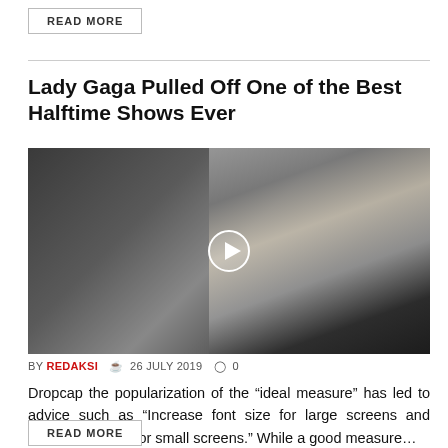READ MORE
Lady Gaga Pulled Off One of the Best Halftime Shows Ever
[Figure (photo): A woman with short platinum hair sitting on a sofa, shown with a video play button overlay in the center of the image.]
BY REDAKSI  26 JULY 2019  0
Dropcap the popularization of the “ideal measure” has led to advice such as “Increase font size for large screens and reduce font size for small screens.” While a good measure…
READ MORE